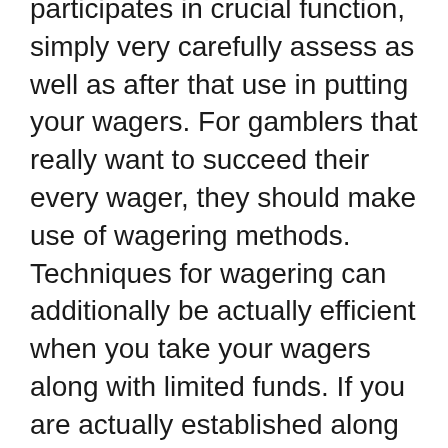participated in crucial function, simply very carefully assess as well as after that use in putting your wagers. For gamblers that really want to succeed their every wager, they should make use of wagering methods. Techniques for wagering can additionally be actually efficient when you take your wagers along with limited funds. If you are actually established along with sporting activities wagering, you need to pick the absolute best soccer website delivering wagering ideas for a particular cost. After you end up being familiarized of participating in along with these sensible cost-free soccer wagering pointers, you may locate you football wagering as higher as well as fantastic paying for task.